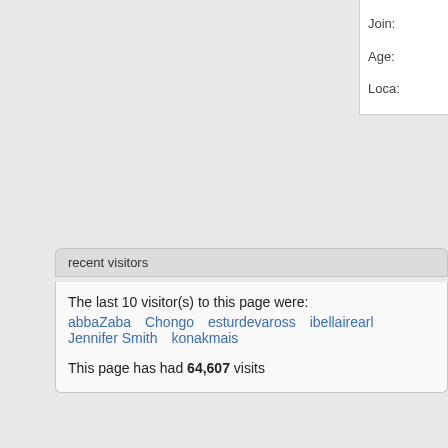Join:
Age:
Loca:
recent visitors
The last 10 visitor(s) to this page were:
abbaZaba   Chongo   esturdevaross   ibellairearl   Jennifer Smith   konakmais
This page has had 64,607 visits
↑ Top
Privacy Policy
All times are GMT -4. The time now is 10:46 AM.
All contents